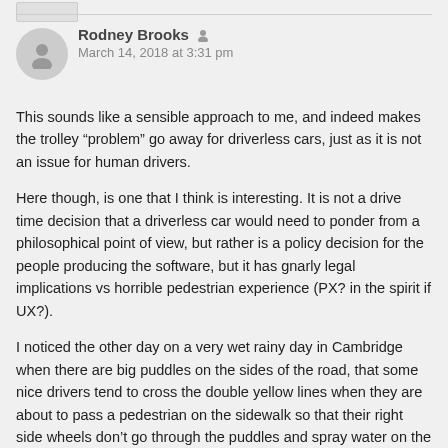[Figure (illustration): Grey rounded rectangle placeholder/avatar box at top left]
Rodney Brooks  [admin icon]
March 14, 2018 at 3:31 pm
This sounds like a sensible approach to me, and indeed makes the trolley “problem” go away for driverless cars, just as it is not an issue for human drivers.
Here though, is one that I think is interesting. It is not a drive time decision that a driverless car would need to ponder from a philosophical point of view, but rather is a policy decision for the people producing the software, but it has gnarly legal implications vs horrible pedestrian experience (PX? in the spirit if UX?).
I noticed the other day on a very wet rainy day in Cambridge when there are big puddles on the sides of the road, that some nice drivers tend to cross the double yellow lines when they are about to pass a pedestrian on the sidewalk so that their right side wheels don’t go through the puddles and spray water on the pedestrian. A driverless car could be programmed to do the same, in order not to be a horrible “citizen” towards human pedestrians. But two things: (1) it would mean that the car